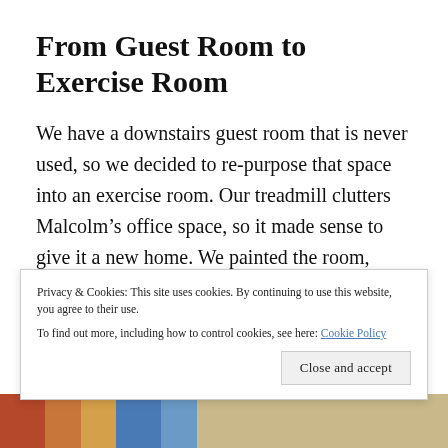From Guest Room to Exercise Room
We have a downstairs guest room that is never used, so we decided to re-purpose that space into an exercise room. Our treadmill clutters Malcolm’s office space, so it made sense to give it a new home. We painted the room, added a new floor and purchased a  rowing machine, to complete the space. Editing the closet of useless stuff was a bonus here as well. And, there you have it—from wasted space to functional
Privacy & Cookies: This site uses cookies. By continuing to use this website, you agree to their use.
To find out more, including how to control cookies, see here: Cookie Policy
[Figure (photo): Partial view of colorful books/objects at the bottom of the page]